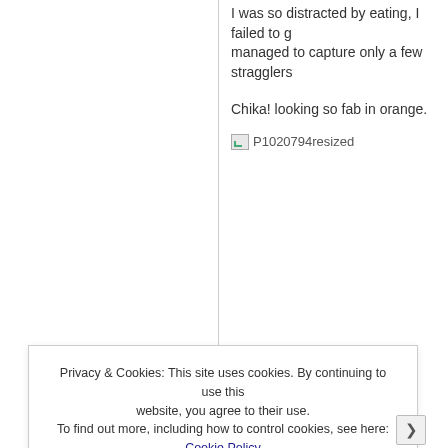I was so distracted by eating, I failed to g... managed to capture only a few stragglers...
Chika! looking so fab in orange.
[Figure (photo): Broken image placeholder labeled P1020794resized]
Privacy & Cookies: This site uses cookies. By continuing to use this website, you agree to their use.
To find out more, including how to control cookies, see here: Cookie Policy